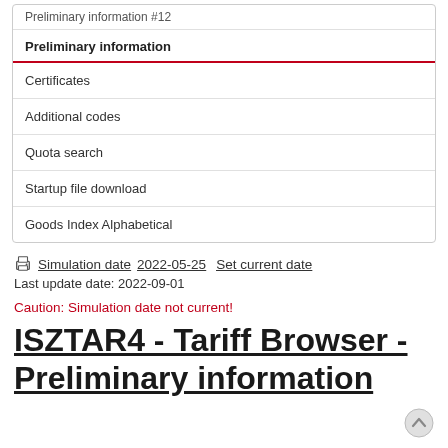Preliminary information
Certificates
Additional codes
Quota search
Startup file download
Goods Index Alphabetical
Simulation date 2022-05-25  Set current date
Last update date: 2022-09-01
Caution: Simulation date not current!
ISZTAR4 - Tariff Browser - Preliminary information